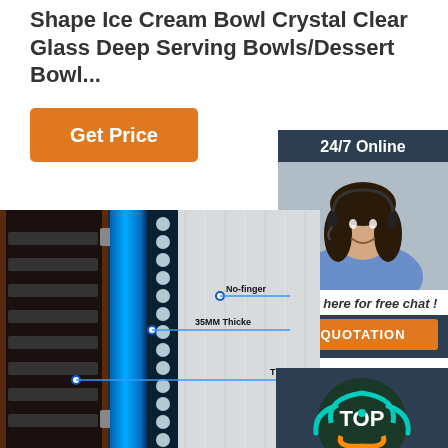Shape Ice Cream Bowl Crystal Clear Glass Deep Serving Bowls/Dessert Bowl...
[Figure (other): Orange 'Get Price' button]
[Figure (other): 24/7 Online chat widget with woman wearing headset, 'Click here for free chat!' text and orange QUOTATION button]
[Figure (engineering-diagram): Cross-section diagram of refrigerator/wine cooler showing cabinet interior with shelves, blue LED lighting panel, bubble/circle decorative element, steel exterior door with annotations: 'No-finger' text, '35MM Thicke' text, and a third partial annotation]
[Figure (other): Dark teal background with circular 'TOP' badge featuring orange and teal arrows]